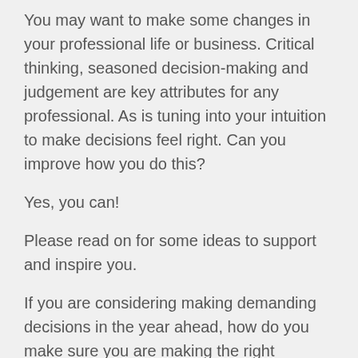You may want to make some changes in your professional life or business. Critical thinking, seasoned decision-making and judgement are key attributes for any professional. As is tuning into your intuition to make decisions feel right. Can you improve how you do this?
Yes, you can!
Please read on for some ideas to support and inspire you.
If you are considering making demanding decisions in the year ahead, how do you make sure you are making the right decisions?